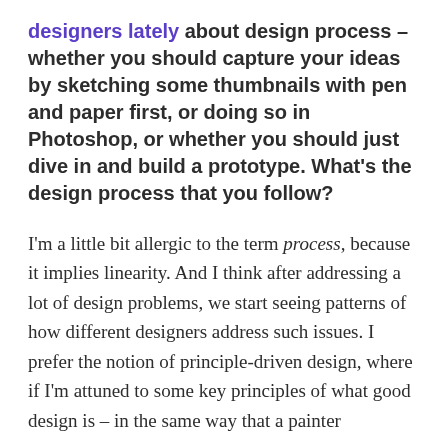designers lately about design process – whether you should capture your ideas by sketching some thumbnails with pen and paper first, or doing so in Photoshop, or whether you should just dive in and build a prototype. What's the design process that you follow?
I'm a little bit allergic to the term process, because it implies linearity. And I think after addressing a lot of design problems, we start seeing patterns of how different designers address such issues. I prefer the notion of principle-driven design, where if I'm attuned to some key principles of what good design is – in the same way that a painter